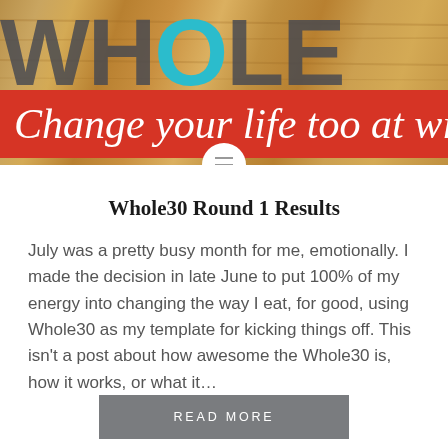[Figure (photo): Header image showing wooden tiles spelling WHOLE with the O in teal/blue, overlaid by a red banner reading 'Change your life too at wi...' and a circular menu icon]
Whole30 Round 1 Results
July was a pretty busy month for me, emotionally. I made the decision in late June to put 100% of my energy into changing the way I eat, for good, using Whole30 as my template for kicking things off. This isn't a post about how awesome the Whole30 is, how it works, or what it…
READ MORE